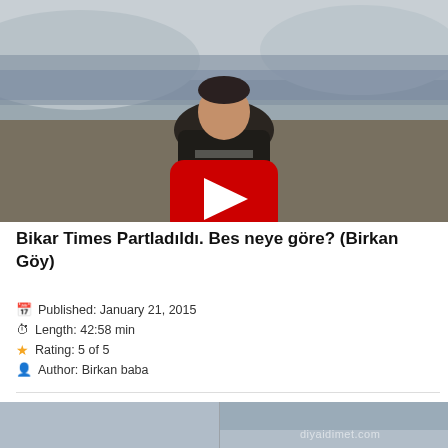[Figure (photo): Video thumbnail showing a young man in a black jacket over a striped sweater, sitting outdoors near a frozen lake or river with snowy terrain. A red YouTube play button overlay is centered on the image.]
Bikar Times Partladıldı. Bes neye göre? (Birkan Göy)
Published: January 21, 2015
Length: 42:58 min
Rating: 5 of 5
Author: Birkan baba
[Figure (screenshot): Partial second video thumbnail at the bottom of the page with watermark text diyaidimet.com]